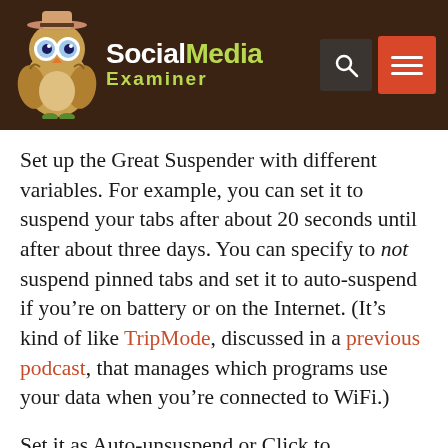Social Media Examiner
Set up the Great Suspender with different variables. For example, you can set it to suspend your tabs after about 20 seconds until after about three days. You can specify to not suspend pinned tabs and set it to auto-suspend if you’re on battery or on the Internet. (It’s kind of like TripMode, discussed in a previous podcast, that manages which programs use your data when you’re connected to WiFi.)
Set it as Auto-unsuspend or Click to Unsuspend.
Whether you use Chrome or another browser, remember if you have lots of tabs open, it’s data and CPU-intensive. Every now and then, restart your